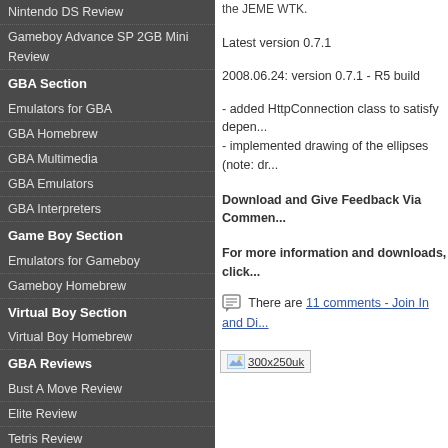Nintendo DS Review
Gameboy Advance SP 2GB Mini Review
GBA Section
Emulators for GBA
GBA Homebrew
GBA Multimedia
GBA Emulators
GBA Interpreters
Game Boy Section
Emulators for Gameboy
Gameboy Homebrew
Virtual Boy Section
Virtual Boy Homebrew
GBA Reviews
Bust A Move Review
Elite Review
Tetris Review
Thrust Review
X-Rom Review
Afterburner Review
EZ Flash 2 Review
Memorystick Review
GBASP AV Adapter Review
GBASP Review
GBA Review
the JEME WTK.
Latest version 0.7.1
2008.06.24: version 0.7.1 - R5 build
- added HttpConnection class to satisfy depen...
- implemented drawing of the ellipses (note: dr...
Download and Give Feedback Via Commen...
For more information and downloads, click...
There are 11 comments - Join In and Di...
[Figure (other): 300x250uk advertisement image placeholder]